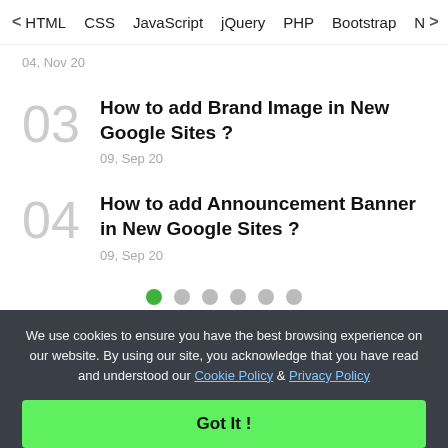< HTML  CSS  JavaScript  jQuery  PHP  Bootstrap  N>
04, Nov 20
03  How to add Brand Image in New Google Sites ?
09, Sep 20
04  How to add Announcement Banner in New Google Sites ?
09, Sep 20
[Figure (infographic): Pagination dots: first dot active (green), five inactive (gray)]
We use cookies to ensure you have the best browsing experience on our website. By using our site, you acknowledge that you have read and understood our Cookie Policy & Privacy Policy
Got It !